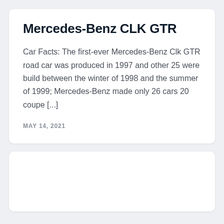Mercedes-Benz CLK GTR
Car Facts: The first-ever Mercedes-Benz Clk GTR road car was produced in 1997 and other 25 were build between the winter of 1998 and the summer of 1999; Mercedes-Benz made only 26 cars 20 coupe [...]
MAY 14, 2021